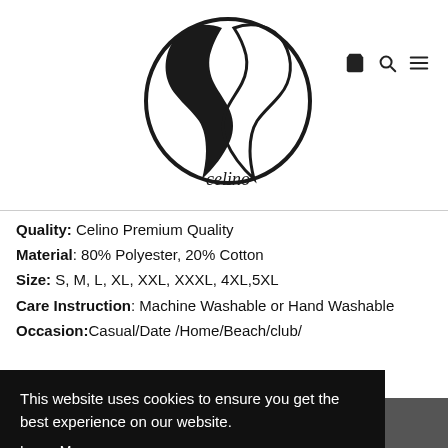[Figure (logo): Celino brand logo — two horses forming a heart shape, with 'celino' text below]
Quality: Celino Premium Quality
Material: 80% Polyester, 20% Cotton
Size: S, M, L, XL, XXL, XXXL, 4XL,5XL
Care Instruction: Machine Washable or Hand Washable
Occasion:Casual/Date /Home/Beach/club/
This website uses cookies to ensure you get the best experience on our website.
Learn More
Got it!
Chat with us
Earn Rewards